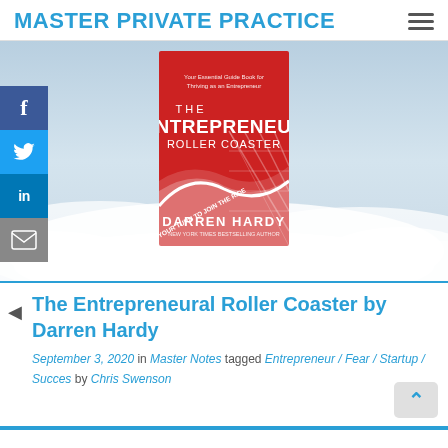MASTER PRIVATE PRACTICE
[Figure (photo): Book cover of 'The Entrepreneur Roller Coaster' by Darren Hardy against a cloudy sky background, with social media share buttons (Facebook, Twitter, LinkedIn, Email) on the left sidebar.]
The Entrepreneural Roller Coaster by Darren Hardy
September 3, 2020 in Master Notes tagged Entrepreneur / Fear / Startup / Succes by Chris Swenson